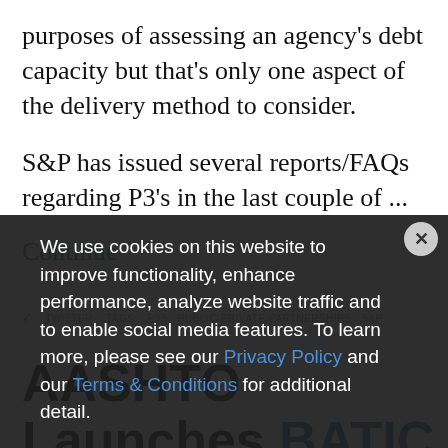purposes of assessing an agency's debt capacity but that's only one aspect of the delivery method to consider.
S&P has issued several reports/FAQs regarding P3's in the last couple of ...
Continue
TWITTER  TAGS: P3S PUBLIC-PRIVATE PARTNERSHIPS S&P
AASHTO Launches BATIC Institute to Support Innovative Financing
We use cookies on this website to improve functionality, enhance performance, analyze website traffic and to enable social media features. To learn more, please see our Privacy Policy and our Terms & Conditions for additional detail.